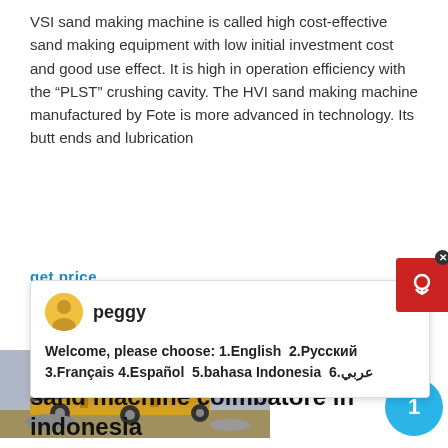VSI sand making machine is called high cost-effective sand making equipment with low initial investment cost and good use effect. It is high in operation efficiency with the “PLST” crushing cavity. The HVI sand making machine manufactured by Fote is more advanced in technology. Its butt ends and lubrication
get price
[Figure (screenshot): Chat popup with avatar of 'peggy' and multilingual welcome message: 'Welcome, please choose: 1.English 2.Русский 3.Français 4.Español 5.bahasa Indonesia 6.عربي']
[Figure (photo): Yellow construction/sand making machine on a worksite]
sand machine coimbatore in indonesia